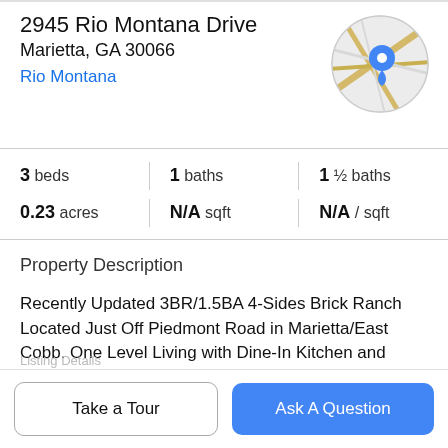2945 Rio Montana Drive
Marietta, GA 30066
Rio Montana
[Figure (map): Circular map thumbnail with a blue location pin marker over a street map of the area]
3 beds | 1 baths | 1 ½ baths
0.23 acres | N/A sqft | N/A / sqft
Property Description
Recently Updated 3BR/1.5BA 4-Sides Brick Ranch Located Just Off Piedmont Road in Marietta/East Cobb. One Level Living with Dine-In Kitchen and Ample Cabinet Space Opening to Family Room with Newly Painted Front Deck Access. Fresh Paint Throughout and New Carpet in
Take a Tour
Ask A Question